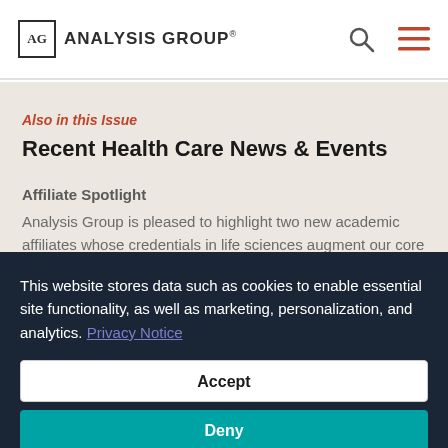AG ANALYSIS GROUP®
Also in this Issue
Recent Health Care News & Events
Affiliate Spotlight
Analysis Group is pleased to highlight two new academic affiliates whose credentials in life sciences augment our core
This website stores data such as cookies to enable essential site functionality, as well as marketing, personalization, and analytics. Privacy Notice
Accept
Deny